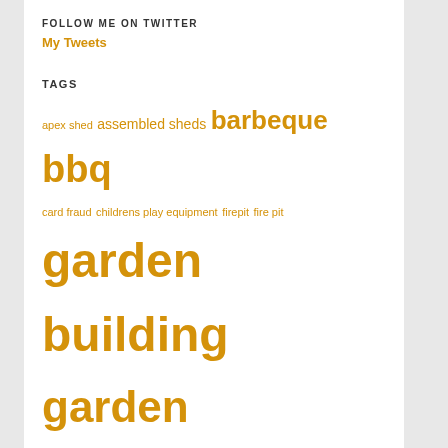FOLLOW ME ON TWITTER
My Tweets
TAGS
apex shed assembled sheds barbeque bbq card fraud childrens play equipment firepit fire pit garden building garden buildings garden games garden offices garden play Garden shed garden storage garden structure greenhouse Greenhouse installation greenhouses grow grow your own herbs Lean to Greenhouse log cabin man cave metal sheds online fraud patio heater picnic benches plastic sheds